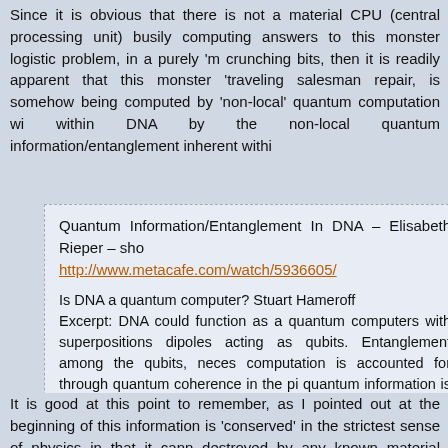Since it is obvious that there is not a material CPU (central processing unit) busily computing answers to this monster logistic problem, in a purely 'm crunching bits, then it is readily apparent that this monster 'traveling salesman repair, is somehow being computed by 'non-local' quantum computation wi within DNA by the non-local quantum information/entanglement inherent withi
Quantum Information/Entanglement In DNA – Elisabeth Rieper – sho http://www.metacafe.com/watch/5936605/

Is DNA a quantum computer? Stuart Hameroff
Excerpt: DNA could function as a quantum computers with superpositions dipoles acting as qubits. Entanglement among the qubits, neces computation is accounted for through quantum coherence in the pi quantum information is shared,,, http://www.quantumconsciousnes.....puter1.htm
It is good at this point to remember, as I pointed out at the beginning of this information is 'conserved' in the strictest sense of physics in that it cann destroyed by any known material means. And in remembering that very conservation, it is good to point out what happens at the moment of death:
The Unbearable Wholeness of Beings – Steve Talbott
Excerpt: Virtually the same collection of molecules exists in the canin moments immediately before and after death. But after the fateful tra